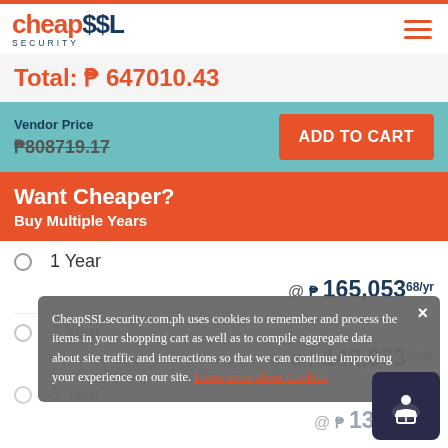cheapSSL SECURITY
Total: ₱ 647010.43
Vendor Price ₱808719.17 ADD TO CART
Want Cheaper? Buy Multiple Years
1 Year @ ₱ 165,053 68/yr
2 Year @ ₱ 142,673 52/yr
3 Year @ ₱ 137,95.../yr
CheapSSLsecurity.com.ph uses cookies to remember and process the items in your shopping cart as well as to compile aggregate data about site traffic and interactions so that we can continue improving your experience on our site. Learn more about Cookies